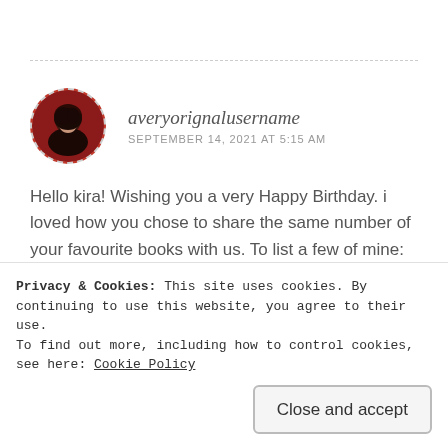[Figure (photo): Circular avatar photo of a person with dark hair against a red background, with a dashed circular border]
averyorignalusername
SEPTEMBER 14, 2021 AT 5:15 AM
Hello kira! Wishing you a very Happy Birthday. i loved how you chose to share the same number of your favourite books with us. To list a few of mine:
1. 1984 by George Orwell
2. The English patient by Michael Ondaatje
Privacy & Cookies: This site uses cookies. By continuing to use this website, you agree to their use.
To find out more, including how to control cookies, see here: Cookie Policy
Close and accept
8. Silk by Alessandro Baricco